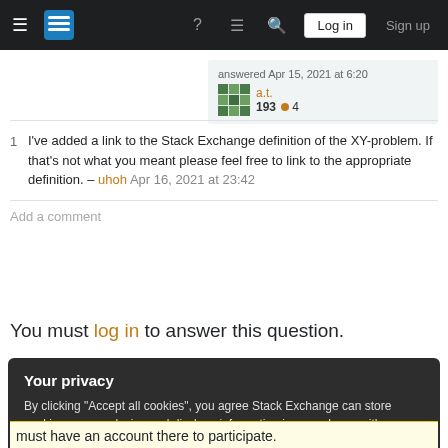Stack Exchange navigation bar with hamburger menu, logo, help, chat, search icons, Log in and Sign up buttons
[Figure (screenshot): User attribution box showing: answered Apr 15, 2021 at 6:20, user a.t., reputation 193, badge 4]
1  I've added a link to the Stack Exchange definition of the XY-problem. If that's not what you meant please feel free to link to the appropriate definition. – uhoh Apr 16, 2021 at 23:42
Add a comment
You must log in to answer this question.
Your privacy
By clicking "Accept all cookies", you agree Stack Exchange can store cookies on your device and disclose information in accordance with our Cookie Policy.
Accept all cookies   Customize settings
must have an account there to participate.